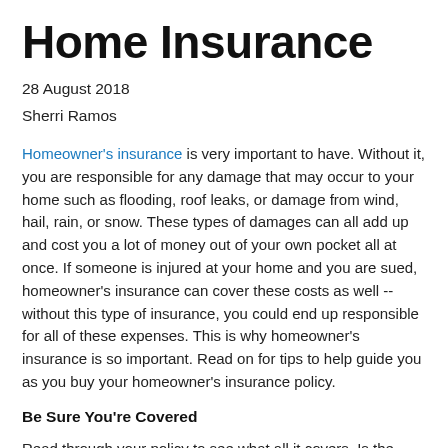Home Insurance
28 August 2018
Sherri Ramos
Homeowner's insurance is very important to have. Without it, you are responsible for any damage that may occur to your home such as flooding, roof leaks, or damage from wind, hail, rain, or snow. These types of damages can all add up and cost you a lot of money out of your own pocket all at once. If someone is injured at your home and you are sued, homeowner's insurance can cover these costs as well -- without this type of insurance, you could end up responsible for all of these expenses. This is why homeowner's insurance is so important. Read on for tips to help guide you as you buy your homeowner's insurance policy.
Be Sure You're Covered
Read through your policy to see what all it covers. Is the policy only covering structural damage, or damage to your